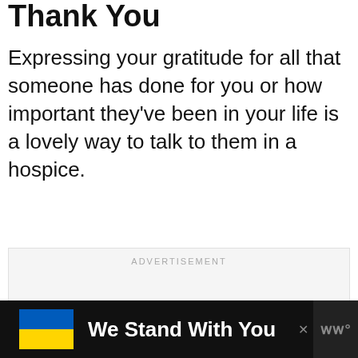Thank You
Expressing your gratitude for all that someone has done for you or how important they've been in your life is a lovely way to talk to them in a hospice.
[Figure (other): Advertisement placeholder box with three pagination dots and 'ADVERTISEMENT' label at top]
[Figure (other): Bottom banner advertisement showing Ukrainian flag colors (blue and yellow) with text 'We Stand With You' on a dark background with a close X button and WW logo]